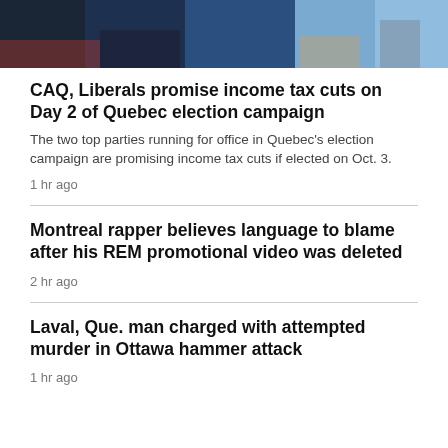[Figure (photo): Photo of people in suits, outdoor background]
CAQ, Liberals promise income tax cuts on Day 2 of Quebec election campaign
The two top parties running for office in Quebec's election campaign are promising income tax cuts if elected on Oct. 3.
1 hr ago
Montreal rapper believes language to blame after his REM promotional video was deleted
2 hr ago
Laval, Que. man charged with attempted murder in Ottawa hammer attack
1 hr ago